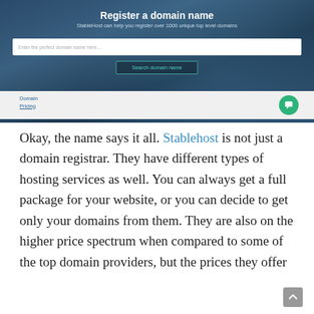[Figure (screenshot): Screenshot of StableHost domain registration page with title 'Register a domain name', subtitle 'StableHost can help you register over 1000 unique top level domains', a search input field with placeholder 'Enter the perfect domain name here....', a 'Search domain name' button, and a 'Domain Pricing' link below on a grey bar. A green chat button is visible on the right side.]
Okay, the name says it all. Stablehost is not just a domain registrar. They have different types of hosting services as well. You can always get a full package for your website, or you can decide to get only your domains from them. They are also on the higher price spectrum when compared to some of the top domain providers, but the prices they offer